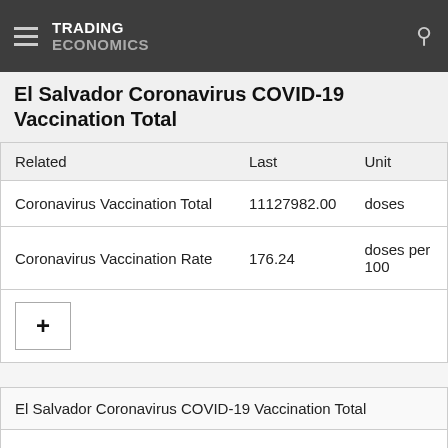TRADING ECONOMICS
El Salvador Coronavirus COVID-19 Vaccination Total
| Related | Last | Unit |
| --- | --- | --- |
| Coronavirus Vaccination Total | 11127982.00 | doses |
| Coronavirus Vaccination Rate | 176.24 | doses per 100 |
El Salvador Coronavirus COVID-19 Vaccination Total
The total number of vaccination doses administered. This is counted as a single dose, and may not equal the total number of people vaccinated, depending on the specific dose regime (e.g. people receive multiple doses). If a vaccination number of the vaccines this countries